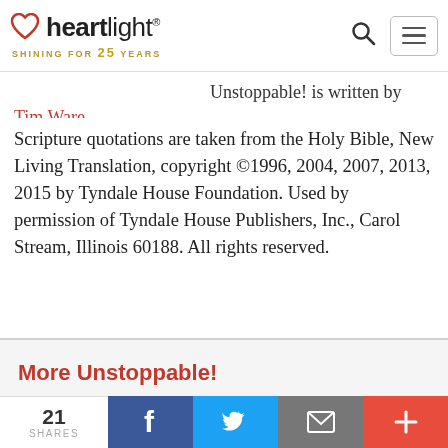heartlight® — SHINING FOR 25 YEARS
Unstoppable! is written by Tim Ware.
Scripture quotations are taken from the Holy Bible, New Living Translation, copyright ©1996, 2004, 2007, 2013, 2015 by Tyndale House Foundation. Used by permission of Tyndale House Publishers, Inc., Carol Stream, Illinois 60188. All rights reserved.
More Unstoppable!
← PREV DAY
NEXT DAY →
21 SHARES